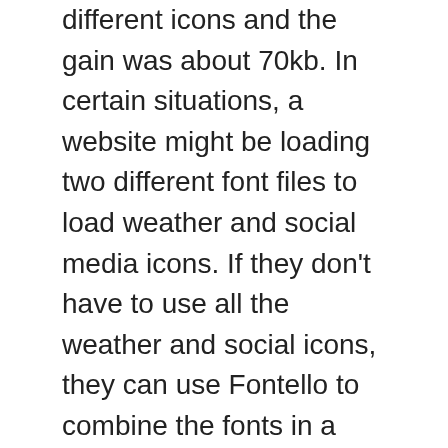different icons and the gain was about 70kb. In certain situations, a website might be loading two different font files to load weather and social media icons. If they don't have to use all the weather and social icons, they can use Fontello to combine the fonts in a single file. In addition to reducing page weight, they will also be reducing the number of requests made by the browser.
Besides the performance gains, the service also allows you to give a uniform name to your icons. For example, Font Awesome prefixes fa- to all its icons. Other icon fonts might do the same. If you are using multiple icon fonts, you will have to keep track of different prefixes. With Fontello, you